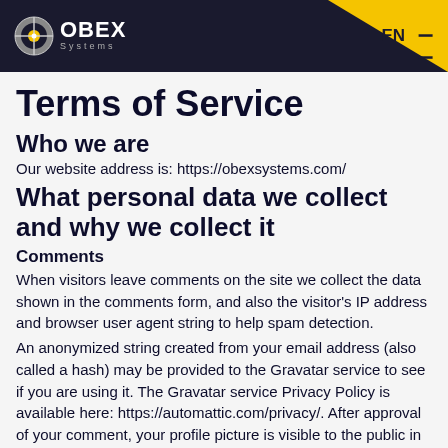OBEX Systems — EN
Terms of Service
Who we are
Our website address is: https://obexsystems.com/
What personal data we collect and why we collect it
Comments
When visitors leave comments on the site we collect the data shown in the comments form, and also the visitor's IP address and browser user agent string to help spam detection.
An anonymized string created from your email address (also called a hash) may be provided to the Gravatar service to see if you are using it. The Gravatar service Privacy Policy is available here: https://automattic.com/privacy/. After approval of your comment, your profile picture is visible to the public in the context of your comment.